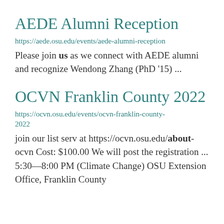AEDE Alumni Reception
https://aede.osu.edu/events/aede-alumni-reception
Please join us as we connect with AEDE alumni and recognize Wendong Zhang (PhD '15) ...
OCVN Franklin County 2022
https://ocvn.osu.edu/events/ocvn-franklin-county-2022
join our list serv at https://ocvn.osu.edu/about-ocvn Cost: $100.00 We will post the registration ... 5:30—8:00 PM (Climate Change) OSU Extension Office, Franklin County